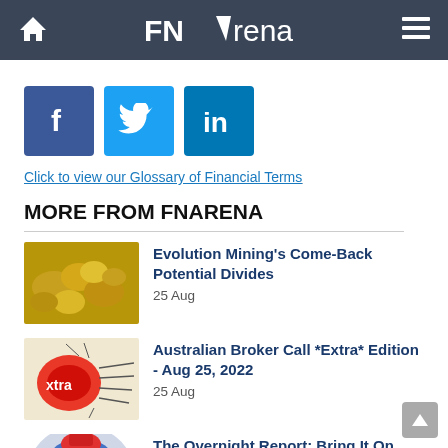FNArena
[Figure (illustration): Social media icons: Facebook (blue), Twitter (light blue), LinkedIn (dark blue)]
Click to view our Glossary of Financial Terms
MORE FROM FNARENA
[Figure (photo): Gold nuggets/rocks thumbnail image]
Evolution Mining's Come-Back Potential Divides
25 Aug
[Figure (photo): Extra edition lightbulb/rocket illustration thumbnail]
Australian Broker Call *Extra* Edition - Aug 25, 2022
25 Aug
[Figure (photo): The Overnight Report globe illustration thumbnail]
The Overnight Report: Bring It On